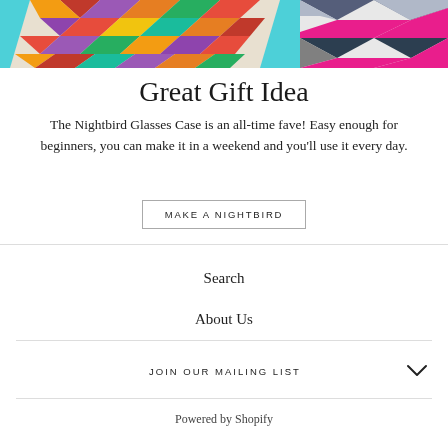[Figure (photo): Colorful knitted or needlepoint glasses cases on a light blue background — one with a multicolor diamond/harlequin pattern in reds, oranges, purples, and greens; another with a geometric chevron/diamond pattern in pink, gray, and dark navy.]
Great Gift Idea
The Nightbird Glasses Case is an all-time fave! Easy enough for beginners, you can make it in a weekend and you'll use it every day.
MAKE A NIGHTBIRD
Search
About Us
JOIN OUR MAILING LIST
Powered by Shopify